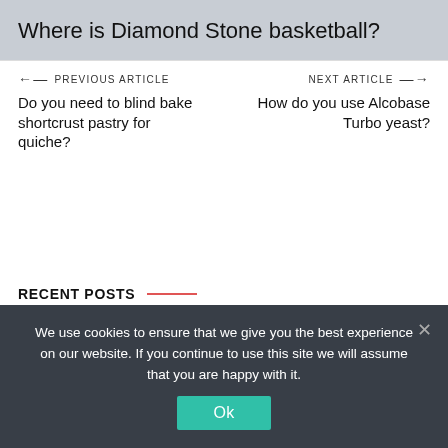Where is Diamond Stone basketball?
← PREVIOUS ARTICLE    NEXT ARTICLE →
Do you need to blind bake shortcrust pastry for quiche?
How do you use Alcobase Turbo yeast?
RECENT POSTS
The secure Sepp Maier
We use cookies to ensure that we give you the best experience on our website. If you continue to use this site we will assume that you are happy with it.
Ok